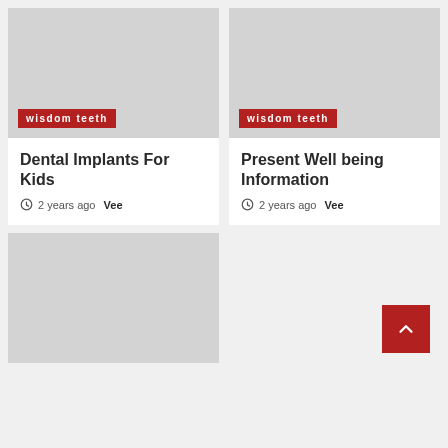[Figure (photo): Gray placeholder image with 'wisdom teeth' red tag label]
wisdom teeth
Dental Implants For Kids
2 years ago  Vee
[Figure (photo): Gray placeholder image with 'wisdom teeth' red tag label]
wisdom teeth
Present Well being Information
2 years ago  Vee
[Figure (photo): Gray placeholder image bottom left]